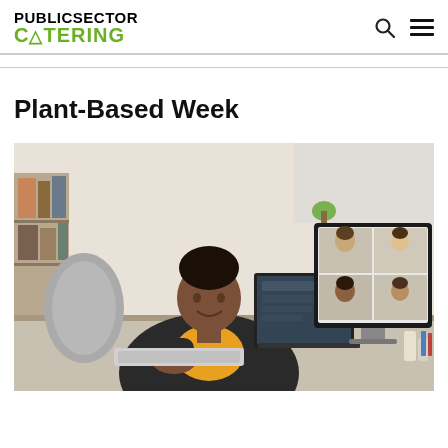PUBLIC SECTOR CATERING
Plant-Based Week
[Figure (photo): A woman with braided hair wearing a black blazer and yellow top, sitting at a desk using a keyboard, with two monitors visible — one showing a video conference with multiple participants in a grid layout.]